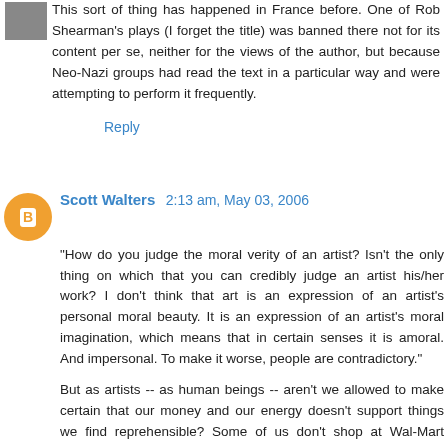This sort of thing has happened in France before. One of Rob Shearman's plays (I forget the title) was banned there not for its content per se, neither for the views of the author, but because Neo-Nazi groups had read the text in a particular way and were attempting to perform it frequently.
Reply
Scott Walters  2:13 am, May 03, 2006
"How do you judge the moral verity of an artist? Isn't the only thing on which that you can credibly judge an artist his/her work? I don't think that art is an expression of an artist's personal moral beauty. It is an expression of an artist's moral imagination, which means that in certain senses it is amoral. And impersonal. To make it worse, people are contradictory."
But as artists -- as human beings -- aren't we allowed to make certain that our money and our energy doesn't support things we find reprehensible? Some of us don't shop at Wal-Mart because we find their corporate philosophy reprehensible, not because we object to